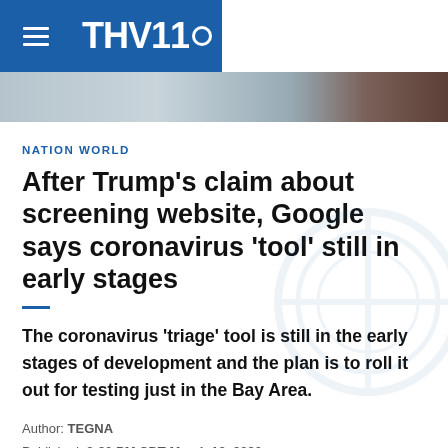THV11
[Figure (photo): News photo banner strip showing blurred indoor scene]
NATION WORLD
After Trump's claim about screening website, Google says coronavirus 'tool' still in early stages
The coronavirus 'triage' tool is still in the early stages of development and the plan is to roll it out for testing just in the Bay Area.
Author: TEGNA
Published: 3:20 PM CDT March 13, 2020
Updated: 9:19 PM CDT March 13, 2020
WASHINGTON — While declaring a national emergency